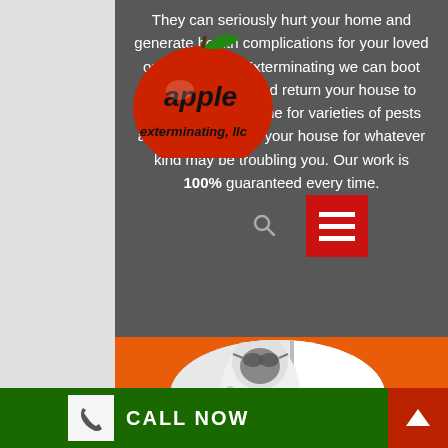[Figure (logo): Apple Exterminating LLC logo with red apple and text]
They can seriously hurt your home and generate health complications for your loved ones. At Apple Exterminating we can boot those pests out and return your house to you. We will examine for varieties of pests and after that treat your house for whatever kind may be troubling you. Our work is 100% guaranteed every time.
[Figure (photo): Exterminator in white protective suit and mask, circular cropped image on orange background]
CALL NOW